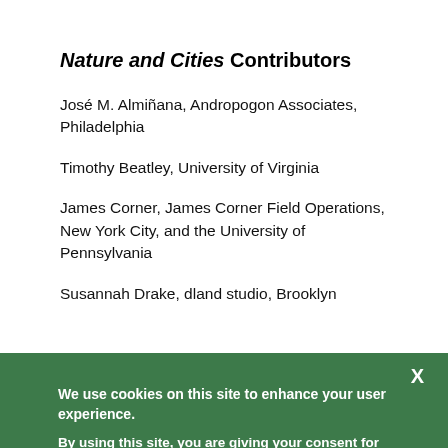Nature and Cities Contributors
José M. Almiñana, Andropogon Associates, Philadelphia
Timothy Beatley, University of Virginia
James Corner, James Corner Field Operations, New York City, and the University of Pennsylvania
Susannah Drake, dland studio, Brooklyn
We use cookies on this site to enhance your user experience.
By using this site, you are giving your consent for us to set cookies. View our privacy policy.